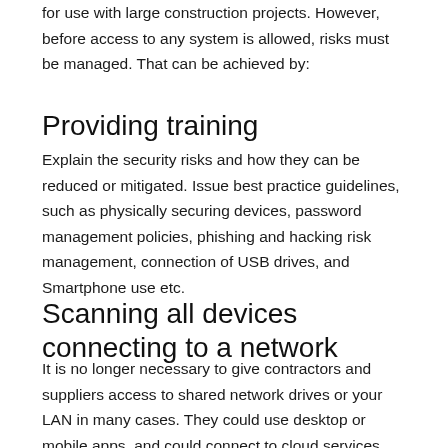for use with large construction projects. However, before access to any system is allowed, risks must be managed. That can be achieved by:
Providing training
Explain the security risks and how they can be reduced or mitigated. Issue best practice guidelines, such as physically securing devices, password management policies, phishing and hacking risk management, connection of USB drives, and Smartphone use etc.
Scanning all devices connecting to a network
It is no longer necessary to give contractors and suppliers access to shared network drives or your LAN in many cases. They could use desktop or mobile apps, and could connect to cloud services used by your company. If LAN access is required, then they must install the necessary security software that you use.